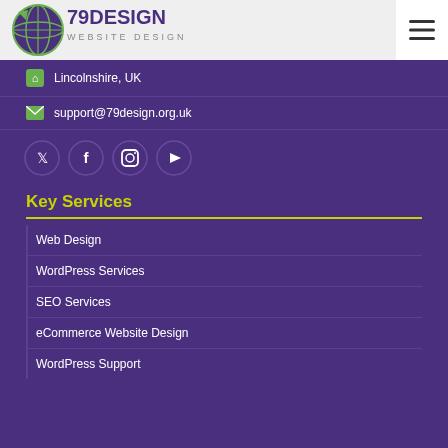79 Design - Header navigation
Lincolnshire, UK
support@79design.org.uk
[Figure (illustration): Social media icons row: Twitter, Facebook, Instagram, YouTube — circular dark purple buttons]
Key Services
Web Design
WordPress Services
SEO Services
eCommerce Website Design
WordPress Support